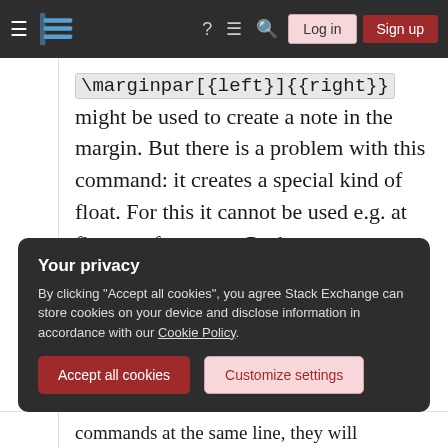Stack Exchange navigation bar with hamburger menu, logo, help, chat, search icons, Log in and Sign up buttons
\marginpar[{left}]{{right}} might be used to create a note in the margin. But there is a problem with this command: it creates a special kind of float. For this it cannot be used e.g. at floats or footnotes. Package marginnote supports another command \marginnote to create notes in the margin. This does not use a kind of float and for this does not have the disadvantage of
Your privacy
By clicking "Accept all cookies", you agree Stack Exchange can store cookies on your device and disclose information in accordance with our Cookie Policy.
Accept all cookies    Customize settings
commands at the same line, they will